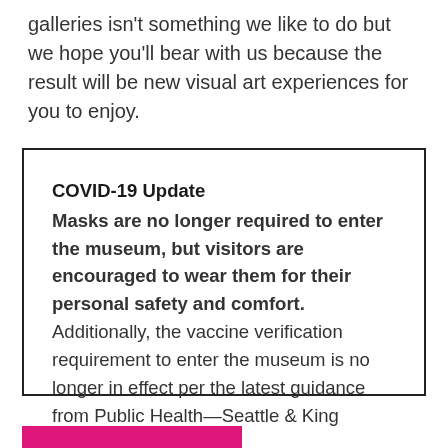galleries isn't something we like to do but we hope you'll bear with us because the result will be new visual art experiences for you to enjoy.
COVID-19 Update
Masks are no longer required to enter the museum, but visitors are encouraged to wear them for their personal safety and comfort. Additionally, the vaccine verification requirement to enter the museum is no longer in effect per the latest guidance from Public Health—Seattle & King County.